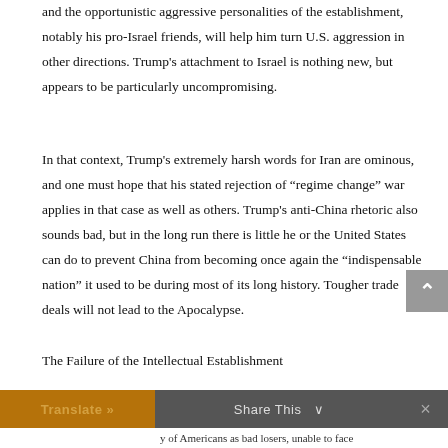and the opportunistic aggressive personalities of the establishment, notably his pro-Israel friends, will help him turn U.S. aggression in other directions. Trump’s attachment to Israel is nothing new, but appears to be particularly uncompromising.
In that context, Trump’s extremely harsh words for Iran are ominous, and one must hope that his stated rejection of “regime change” war applies in that case as well as others. Trump’s anti-China rhetoric also sounds bad, but in the long run there is little he or the United States can do to prevent China from becoming once again the “indispensable nation” it used to be during most of its long history. Tougher trade deals will not lead to the Apocalypse.
The Failure of the Intellectual Establishment
Translate »   Share This ∨   ×   y of Americans as bad losers, unable to face